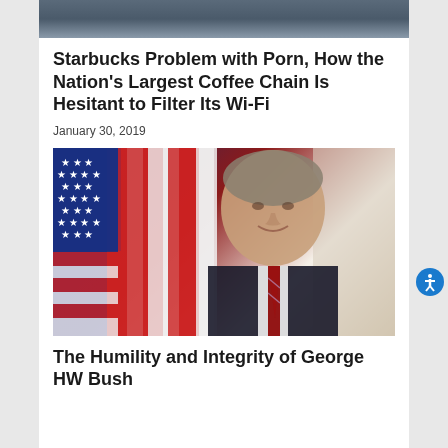[Figure (photo): Partial top image of a building exterior, cropped at top of page]
Starbucks Problem with Porn, How the Nation’s Largest Coffee Chain Is Hesitant to Filter Its Wi-Fi
January 30, 2019
[Figure (photo): Portrait photo of George HW Bush smiling, wearing dark suit and red striped tie, with American flag in background]
The Humility and Integrity of George HW Bush